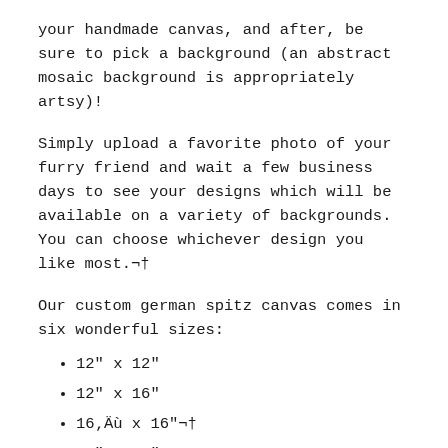your handmade canvas, and after, be sure to pick a background (an abstract mosaic background is appropriately artsy)!
Simply upload a favorite photo of your furry friend and wait a few business days to see your designs which will be available on a variety of backgrounds. You can choose whichever design you like most.¬†
Our custom german spitz canvas comes in six wonderful sizes:
12" x 12"
12" x 16"
16‚Äù x 16"¬†
16" x 20"
18‚Äù x 24"